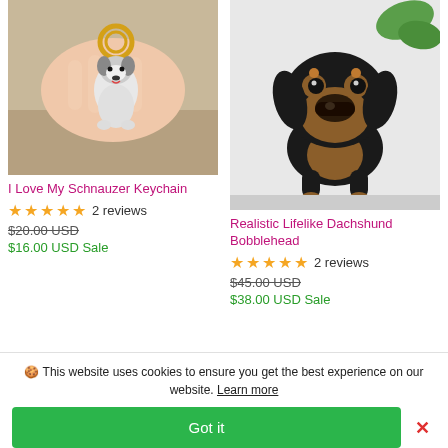[Figure (photo): Hand holding a schnauzer dog keychain with gold ring and decorative charms]
I Love My Schnauzer Keychain
★★★★★ 2 reviews
$20.00 USD (strikethrough) $16.00 USD Sale
[Figure (photo): Realistic lifelike dachshund bobblehead figurine, black and tan colored dog]
Realistic Lifelike Dachshund Bobblehead
★★★★★ 2 reviews
$45.00 USD (strikethrough) $38.00 USD Sale
🍪 This website uses cookies to ensure you get the best experience on our website. Learn more
Got it